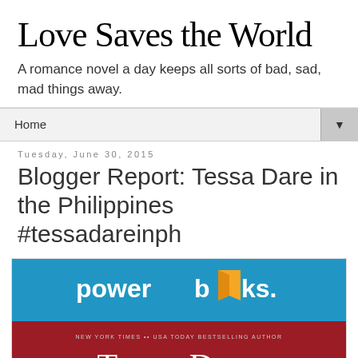Love Saves the World
A romance novel a day keeps all sorts of bad, sad, mad things away.
Home
Tuesday, June 30, 2015
Blogger Report: Tessa Dare in the Philippines #tessadareinph
[Figure (photo): Powerbooks event poster for Tessa Dare Talk & Book Signing. Top half shows Powerbooks logo (blue background with orange book icon). Bottom half shows dark red/crimson background with text: NEW YORK TIMES and USA TODAY BESTSELLING AUTHOR, Tessa Dare, TALK & BOOK SIGNING.]